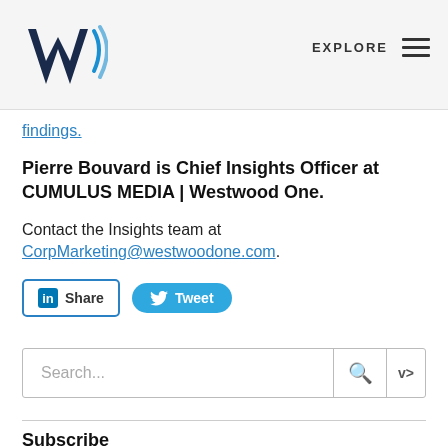EXPLORE
findings.
Pierre Bouvard is Chief Insights Officer at CUMULUS MEDIA | Westwood One.
Contact the Insights team at CorpMarketing@westwoodone.com.
[Figure (other): LinkedIn Share button and Twitter Tweet button]
Search...
Subscribe